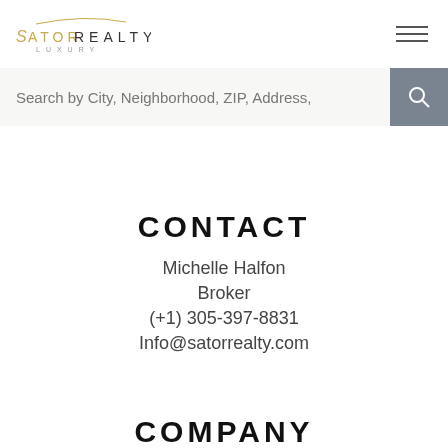[Figure (logo): Sator Realty Luxury logo with decorative swash line above the text]
Search by City, Neighborhood, ZIP, Address,
CONTACT
Michelle Halfon
Broker
(+1) 305-397-8831
Info@satorrealty.com
COMPANY